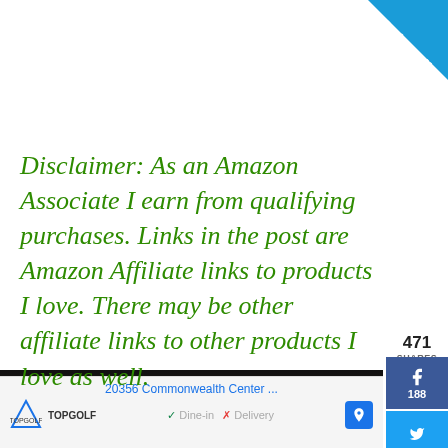[Figure (screenshot): Blue subscribe ribbon in top-right corner]
Disclaimer: As an Amazon Associate I earn from qualifying purchases. Links in the post are Amazon Affiliate links to products I love. There may be other affiliate links to other products I love as well.
[Figure (screenshot): Social share sidebar with 471 total shares: Facebook 188, Twitter (no count shown), Pinterest 283]
[Figure (screenshot): Video player with black background showing 'No compatible source was found for this media.' and a food image thumbnail with a close/X button overlay]
[Figure (screenshot): Bottom advertisement banner showing Topgolf at 20356 Commonwealth Center with Dine-in and Delivery info]